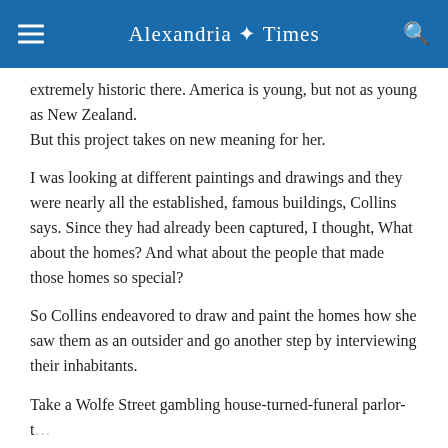Alexandria Times
extremely historic there. America is young, but not as young as New Zealand.
But this project takes on new meaning for her.
I was looking at different paintings and drawings and they were nearly all the established, famous buildings, Collins says. Since they had already been captured, I thought, What about the homes? And what about the people that made those homes so special?
So Collins endeavored to draw and paint the homes how she saw them as an outsider and go another step by interviewing their inhabitants.
Take a Wolfe Street gambling house-turned-funeral parlor-turned home that has been associated with...